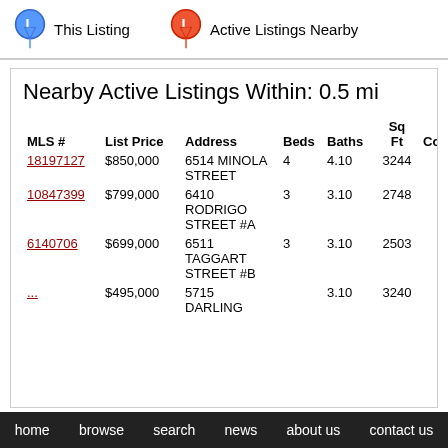[Figure (infographic): Legend showing two map pins: blue pin labeled 'This Listing' and red/orange pin labeled 'Active Listings Nearby']
Nearby Active Listings Within: 0.5 mi
| MLS # | List Price | Address | Beds | Baths | Sq Ft | Community |
| --- | --- | --- | --- | --- | --- | --- |
| 18197127 | $850,000 | 6514 MINOLA STREET | 4 | 4.10 | 3244 | CAMP LOGAN |
| 10847399 | $799,000 | 6410 RODRIGO STREET #A | 3 | 3.10 | 2748 | CAMP LOGAN |
| 6140706 | $699,000 | 6511 TAGGART STREET #B | 3 | 3.10 | 2503 | CAMP LOGAN |
| ... | $495,000 | 5715 DARLING... | ... | 3.10 | 3240 | DARLING... |
home  browse  search  news  about us  contact us